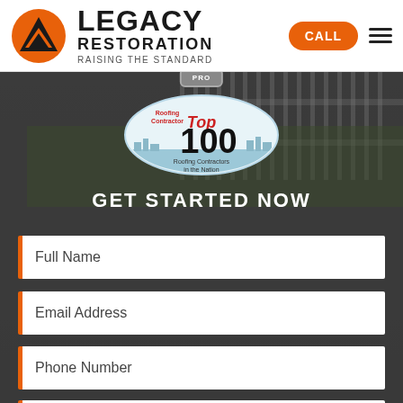[Figure (logo): Legacy Restoration logo: orange circle with black mountain/chevron shape inside, company name LEGACY RESTORATION RAISING THE STANDARD]
LEGACY RESTORATION
RAISING THE STANDARD
CALL
[Figure (illustration): Background photo of house exterior with fence and foliage, darkened overlay]
[Figure (logo): Roofing Contractor Top 100 Roofing Contractors in the Nation badge — oval shape with skyline, red Top text and large 100]
GET STARTED NOW
Full Name
Email Address
Phone Number
Full Address